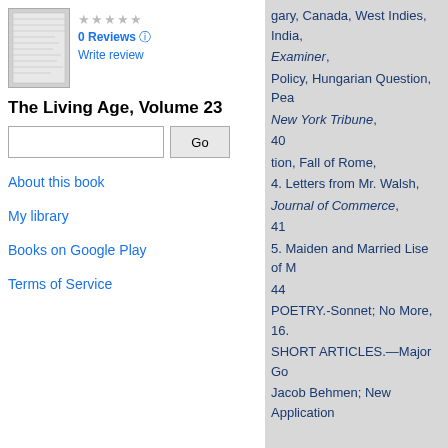[Figure (illustration): Thumbnail image of a book cover page]
0 Reviews
Write review
The Living Age, Volume 23
About this book
My library
Books on Google Play
Terms of Service
gary, Canada, West Indies, India,
Examiner,
Policy, Hungarian Question, Pea
New York Tribune,
40
tion, Fall of Rome,
4. Letters from Mr. Walsh,
Journal of Commerce,
41
5. Maiden and Married Lise of M
44
POETRY.-Sonnet; No More, 16.
SHORT ARTICLES.—Major Go
Jacob Behmen; New Application
PROSPECTUS.—This work is c informed
Littell's Museum of Foreign Lite